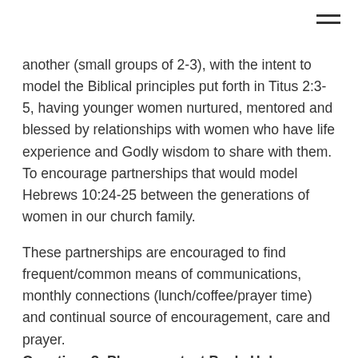another (small groups of 2-3), with the intent to model the Biblical principles put forth in Titus 2:3-5, having younger women nurtured, mentored and blessed by relationships with women who have life experience and Godly wisdom to share with them.  To encourage partnerships that would model Hebrews 10:24-25 between the generations of women in our church family.
These partnerships are encouraged to find frequent/common means of communications, monthly connections (lunch/coffee/prayer time) and continual source of encouragement, care and prayer. Questions?  Please contact Paula Holmen.